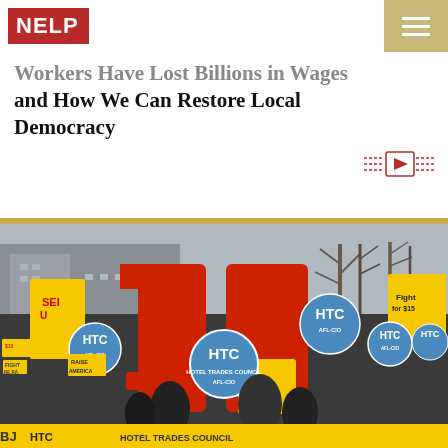NELP
Workers Have Lost Billions in Wages and How We Can Restore Local Democracy
[Figure (other): Video play button icon with decorative lines on either side, indicating an embedded video]
[Figure (photo): Protest rally photo showing workers holding large red '15' numbers, HTC union signs, SEIU flags, and 'Raise America' placards, with a yellow banner at the bottom. Fight for $15 minimum wage demonstration in an urban setting with bare winter trees.]